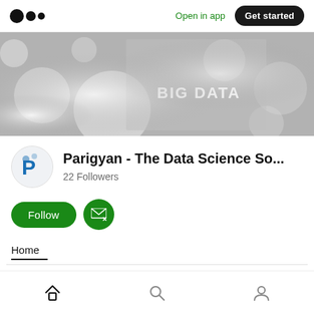Medium logo | Open in app | Get started
[Figure (photo): Grayscale bokeh background image with 'BIG DATA' text visible in the center]
Parigyan - The Data Science So...
22 Followers
Follow | Subscribe (email icon)
Home
Home | Search | Profile navigation icons